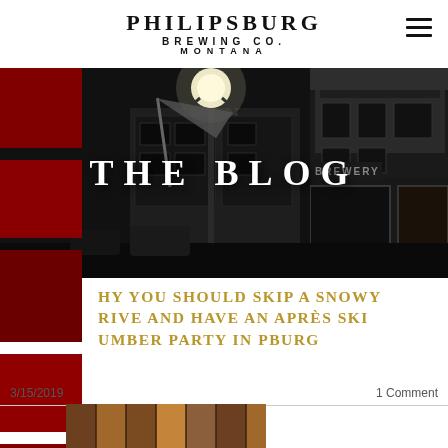PHILIPSBURG BREWING CO. MONTANA
[Figure (photo): Black and white night photo of a street with a lit lamp post, flags, and brewery storefront with 'BREWERY' signage]
THE BLOG
WHY YOU SHOULD SKIP A SNOWY DRIVE AND HAVE AN APRÈS SKI SLUMBER PARTY IN PBURG
3/15/2019
1 Comment
[Figure (photo): Partial thumbnail of an interior photo]